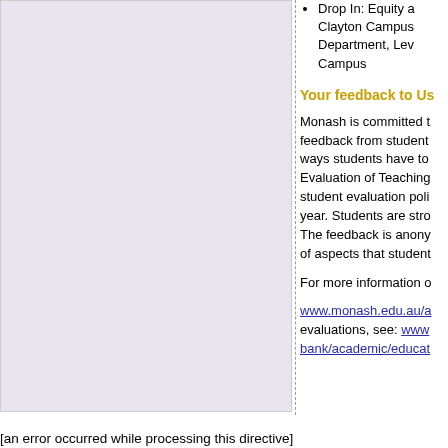[Figure (other): Left panel with light purple/gray background, blank content area]
Drop In: Equity a... Clayton Campus Department, Lev... Campus
Your feedback to Us
Monash is committed t... feedback from student... ways students have to... Evaluation of Teaching... student evaluation poli... year. Students are stro... The feedback is anony... of aspects that student...
For more information o...
www.monash.edu.au/a... evaluations, see: www... bank/academic/educat...
[an error occurred while processing this directive]